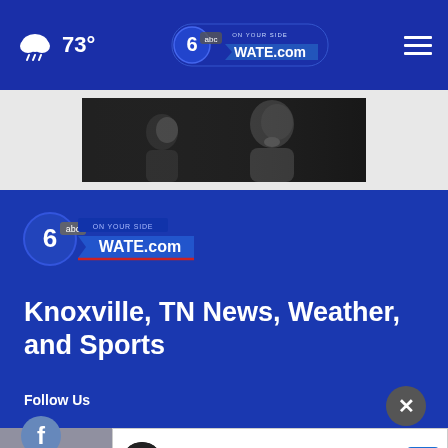73° — WATE.com navigation bar
[Figure (screenshot): Black and white advertisement photo showing an adult and child face to face]
[Figure (logo): WATE 6 ABC On Your Side WATE.com logo]
Knoxville, TN News, Weather, and Sports
Follow Us
[Figure (logo): Facebook icon circle]
[Figure (screenshot): Advertisement: Save Up To $75 on New Tires — Virginia Tire & Auto of Ashburn]